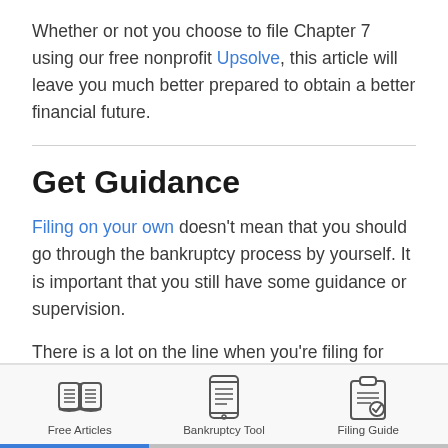Whether or not you choose to file Chapter 7 using our free nonprofit Upsolve, this article will leave you much better prepared to obtain a better financial future.
Get Guidance
Filing on your own doesn't mean that you should go through the bankruptcy process by yourself. It is important that you still have some guidance or supervision.
There is a lot on the line when you're filing for bankruptcy. If done incorrectly you could jeopardize
[Figure (infographic): Bottom navigation bar with three icons and labels: Free Articles (open book icon), Bankruptcy Tool (smartphone/tablet icon), Filing Guide (clipboard with checkmark icon)]